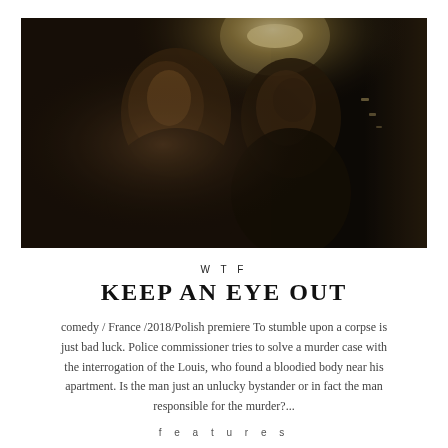[Figure (photo): A dark cinematic still showing two men standing in a dimly lit corridor or hallway. One man faces the camera from the left, the other stands with his back mostly turned on the right. A bright light glows overhead in the background.]
WTF
KEEP AN EYE OUT
comedy / France /2018/Polish premiere To stumble upon a corpse is just bad luck. Police commissioner tries to solve a murder case with the interrogation of the Louis, who found a bloodied body near his apartment. Is the man just an unlucky bystander or in fact the man responsible for the murder?...
f e a t u r e s